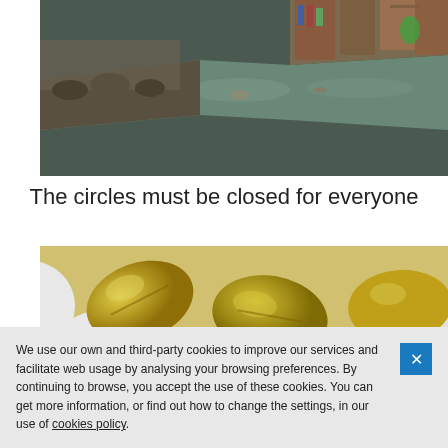[Figure (photo): Aerial view of a polluted waterway or canal with debris and rubbish along the banks, with makeshift structures and market stalls visible on both sides.]
The circles must be closed for everyone
[Figure (photo): Close-up macro photograph of green/gold gel capsules (supplement pills) mixed with round white tablets.]
We use our own and third-party cookies to improve our services and facilitate web usage by analysing your browsing preferences. By continuing to browse, you accept the use of these cookies. You can get more information, or find out how to change the settings, in our use of cookies policy.